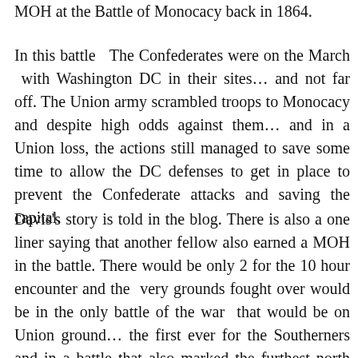MOH at the Battle of Monocacy back in 1864.
In this battle  The Confederates were on the March  with Washington DC in their sites… and not far off. The Union army scrambled troops to Monocacy and despite high odds against them… and in a Union loss, the actions still managed to save some time to allow the DC defenses to get in place to prevent the Confederate attacks and saving the capital.
Davis's story is told in the blog. There is also a one liner saying that another fellow also earned a MOH in the battle. There would be only 2 for the 10 hour encounter and the  very grounds fought over would be in the only battle of the war  that would be on Union ground… the first ever for the Southerners and in a battle that also marked the furthest north the Southerners had